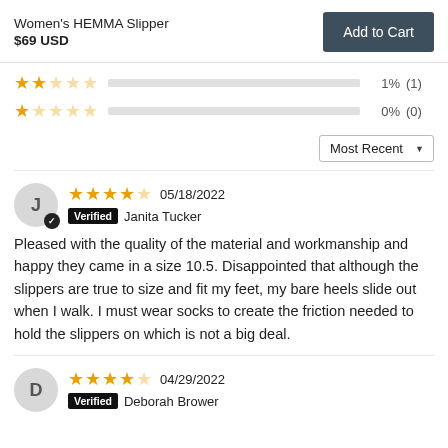Women's HEMMA Slipper $69 USD | Add to Cart
★★☆☆☆  1%  (1)
★☆☆☆☆  0%  (0)
Sort: Most Recent
★★★★☆ 05/18/2022  Verified  Janita Tucker
Pleased with the quality of the material and workmanship and happy they came in a size 10.5. Disappointed that although the slippers are true to size and fit my feet, my bare heels slide out when I walk. I must wear socks to create the friction needed to hold the slippers on which is not a big deal.
★★★★☆ 04/29/2022  Verified  Deborah Brower